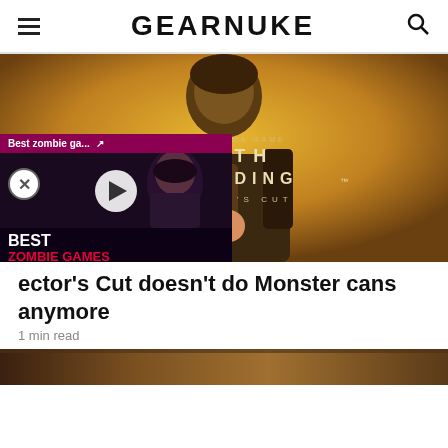GEARNUKE
[Figure (screenshot): Death Stranding Director's Cut promotional image showing a man holding an object with golden background and the game title text overlay]
[Figure (screenshot): Video thumbnail overlay showing Best Zombie Games with a play button and a dark-haired character]
ector's Cut doesn't do Monster cans anymore
1 min read
[Figure (screenshot): Bottom strip showing partial image preview]